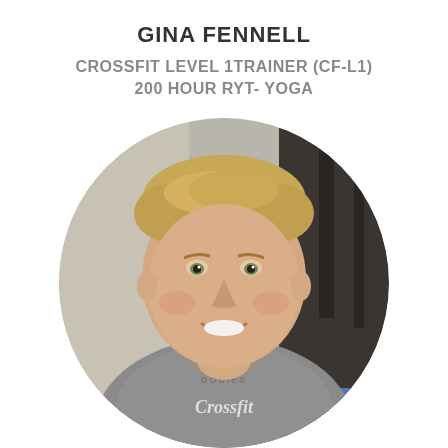GINA FENNELL
CROSSFIT LEVEL 1TRAINER (CF-L1)
200 HOUR RYT- YOGA
[Figure (photo): Circular headshot photo of a young man with short blonde hair, smiling, wearing a gray CrossFit t-shirt, standing in what appears to be a CrossFit gym with equipment visible in the background.]